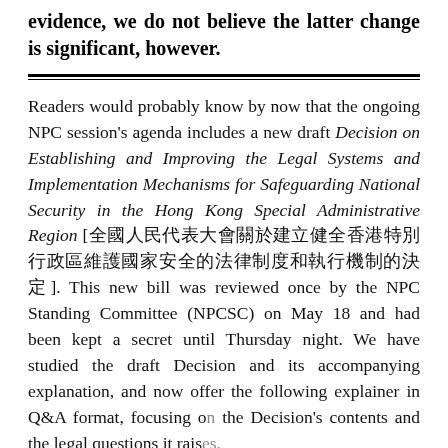evidence, we do not believe the latter change is significant, however.
Readers would probably know by now that the ongoing NPC session's agenda includes a new draft Decision on Establishing and Improving the Legal Systems and Implementation Mechanisms for Safeguarding National Security in the Hong Kong Special Administrative Region [全國人民代表大會關於建立健全香港特別行政區維護國家安全的法律制度和執行機制的決定]. This new bill was reviewed once by the NPC Standing Committee (NPCSC) on May 18 and had been kept a secret until Thursday night. We have studied the draft Decision and its accompanying explanation, and now offer the following explainer in Q&A format, focusing on the Decision's contents and the legal questions it raises. We will add more Q&As in the coming days.